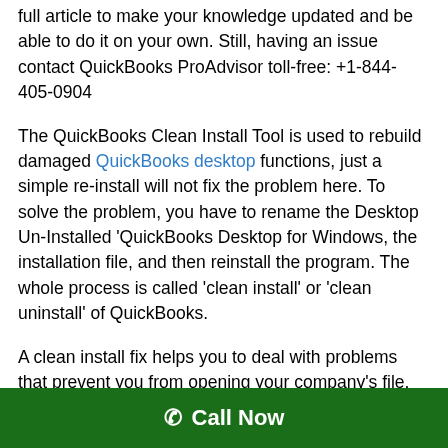full article to make your knowledge updated and be able to do it on your own. Still, having an issue contact QuickBooks ProAdvisor toll-free: +1-844-405-0904
The QuickBooks Clean Install Tool is used to rebuild damaged QuickBooks desktop functions, just a simple re-install will not fix the problem here. To solve the problem, you have to rename the Desktop Un-Installed 'QuickBooks Desktop for Windows, the installation file, and then reinstall the program. The whole process is called 'clean install' or 'clean uninstall' of QuickBooks.
A clean install fix helps you to deal with problems that prevent you from opening your company's file, display and template problems, and some other situations. It succeeds
Call Now